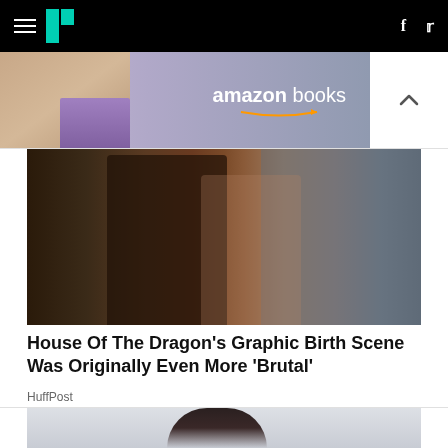HuffPost navigation with hamburger menu, logo, facebook and twitter icons
[Figure (photo): Amazon Books advertisement banner with a bald woman reading a book and the Amazon Books logo]
[Figure (photo): House of the Dragon TV show still image showing two characters in medieval fantasy costumes — a man with long white hair in dark embroidered clothing and a pregnant woman in pink/rose clothing — standing against a stone wall background]
House Of The Dragon's Graphic Birth Scene Was Originally Even More 'Brutal'
HuffPost
[Figure (photo): Partial view of a woman with dark hair against a light background — second article thumbnail, cropped at bottom of page]